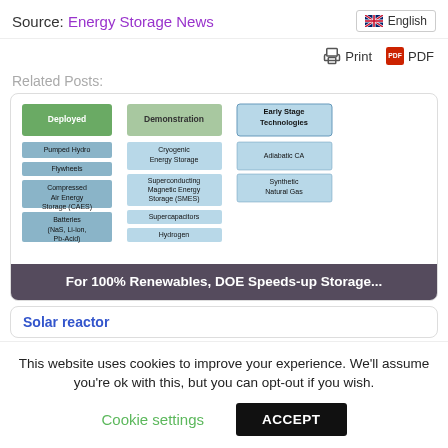Source: Energy Storage News | English
🖨 Print   PDF
Related Posts:
[Figure (infographic): Diagram showing energy storage technology categories: Deployed (Pumped Hydro, Flywheels, Compressed Air Energy Storage (CAES), Batteries (NaS, Li-ion, Pb-Acid)), Demonstration (Cryogenic Energy Storage, Superconducting Magnetic Energy Storage (SMES), Supercapacitors, Hydrogen), Early Stage Technologies (Adiabatic CA, Synthetic Natural Gas). Overlay text: For 100% Renewables, DOE Speeds-up Storage...]
Solar reactor
This website uses cookies to improve your experience. We'll assume you're ok with this, but you can opt-out if you wish.
Cookie settings   ACCEPT